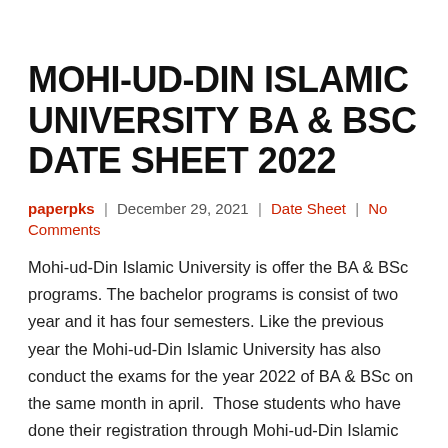MOHI-UD-DIN ISLAMIC UNIVERSITY BA & BSC DATE SHEET 2022
paperpks | December 29, 2021 | Date Sheet | No Comments
Mohi-ud-Din Islamic University is offer the BA & BSc programs. The bachelor programs is consist of two year and it has four semesters. Like the previous year the Mohi-ud-Din Islamic University has also conduct the exams for the year 2022 of BA & BSc on the same month in april.  Those students who have done their registration through Mohi-ud-Din Islamic University for BA & BSc and are waiting for the date sheet. We want to inform them that date sheet has been announced and it is uploaded.
Any students who is belongs to Mohi-ud-Din Islamic University